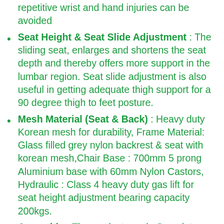repetitive wrist and hand injuries can be avoided
Seat Height & Seat Slide Adjustment : The sliding seat, enlarges and shortens the seat depth and thereby offers more support in the lumbar region. Seat slide adjustment is also useful in getting adequate thigh support for a 90 degree thigh to feet posture.
Mesh Material (Seat & Back) : Heavy duty Korean mesh for durability, Frame Material: Glass filled grey nylon backrest & seat with korean mesh,Chair Base : 700mm 5 prong Aluminium base with 60mm Nylon Castors, Hydraulic : Class 4 heavy duty gas lift for seat height adjustment bearing capacity 200kgs.
Assembly : The product needs Complete Do-